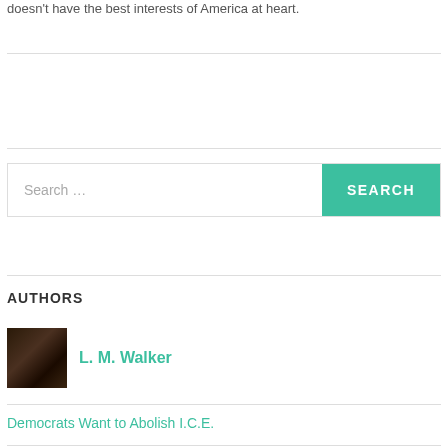doesn't have the best interests of America at heart.
Search ...
AUTHORS
[Figure (photo): Author photo of L. M. Walker — dark portrait photo]
L. M. Walker
Democrats Want to Abolish I.C.E.